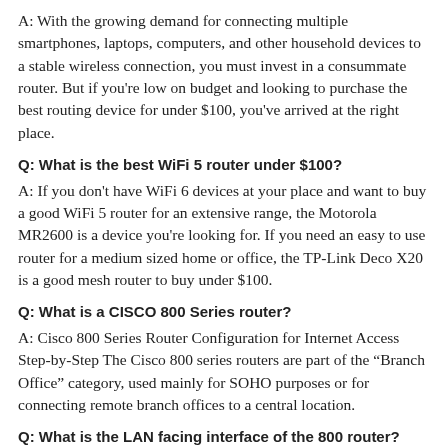A: With the growing demand for connecting multiple smartphones, laptops, computers, and other household devices to a stable wireless connection, you must invest in a consummate router. But if you're low on budget and looking to purchase the best routing device for under $100, you've arrived at the right place.
Q: What is the best WiFi 5 router under $100?
A: If you don't have WiFi 6 devices at your place and want to buy a good WiFi 5 router for an extensive range, the Motorola MR2600 is a device you're looking for. If you need an easy to use router for a medium sized home or office, the TP-Link Deco X20 is a good mesh router to buy under $100.
Q: What is a CISCO 800 Series router?
A: Cisco 800 Series Router Configuration for Internet Access Step-by-Step The Cisco 800 series routers are part of the “Branch Office” category, used mainly for SOHO purposes or for connecting remote branch offices to a central location.
Q: What is the LAN facing interface of the 800 router?
A: ip dhcp excluded-address 192.168.1.1 192.168.1.30 This is